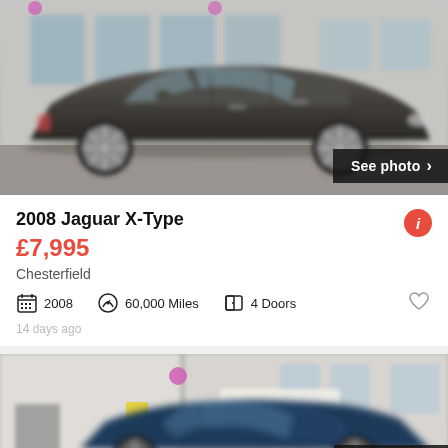[Figure (photo): Dark grey Jaguar X-Type sedan parked outside a building, side profile view. 'See photo >' button overlay bottom-right.]
2008 Jaguar X-Type
£7,995
Chesterfield
2008  60,000 Miles  4 Doors
14 days ago
[Figure (photo): Dark blue sedan parked outside a car dealership building. 'See photo >' button overlay bottom-right.]